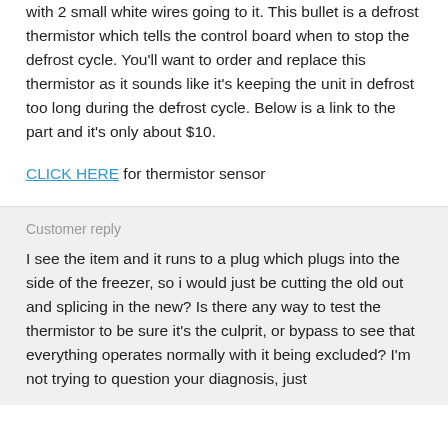with 2 small white wires going to it. This bullet is a defrost thermistor which tells the control board when to stop the defrost cycle. You'll want to order and replace this thermistor as it sounds like it's keeping the unit in defrost too long during the defrost cycle. Below is a link to the part and it's only about $10.
CLICK HERE for thermistor sensor
Customer reply
I see the item and it runs to a plug which plugs into the side of the freezer, so i would just be cutting the old out and splicing in the new? Is there any way to test the thermistor to be sure it's the culprit, or bypass to see that everything operates normally with it being excluded? I'm not trying to question your diagnosis, just